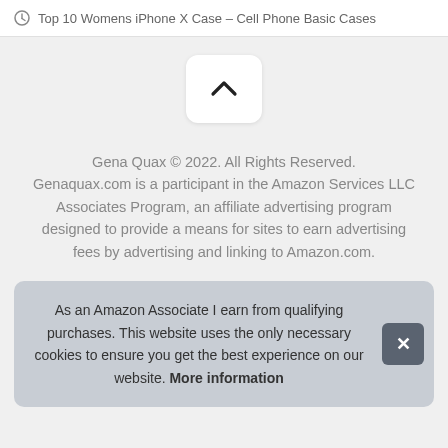Top 10 Womens iPhone X Case – Cell Phone Basic Cases
[Figure (other): Scroll-to-top button with upward chevron arrow on white rounded rectangle background]
Gena Quax © 2022. All Rights Reserved. Genaquax.com is a participant in the Amazon Services LLC Associates Program, an affiliate advertising program designed to provide a means for sites to earn advertising fees by advertising and linking to Amazon.com.
As an Amazon Associate I earn from qualifying purchases. This website uses the only necessary cookies to ensure you get the best experience on our website. More information